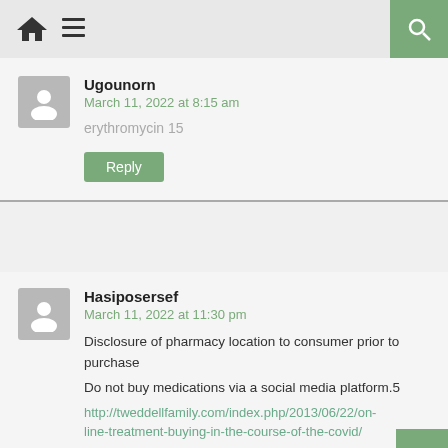Navigation bar with home icon, menu icon, search button
Ugounorn
March 11, 2022 at 8:15 am
erythromycin 15
Reply
Hasiposersef
March 11, 2022 at 11:30 pm
Disclosure of pharmacy location to consumer prior to purchase
Do not buy medications via a social media platform.5
http://tweddellfamily.com/index.php/2013/06/22/on-line-treatment-buying-in-the-course-of-the-covid/
azithromycin buy india